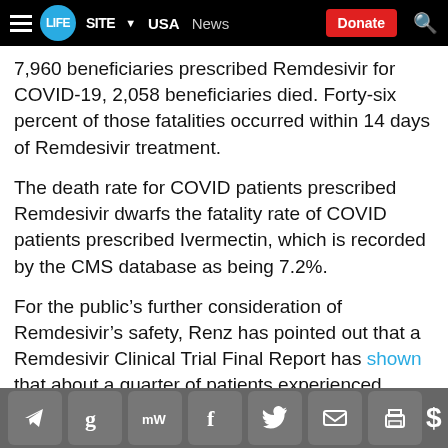LifeSite — USA | News | Donate
7,960 beneficiaries prescribed Remdesivir for COVID-19, 2,058 beneficiaries died. Forty-six percent of those fatalities occurred within 14 days of Remdesivir treatment.
The death rate for COVID patients prescribed Remdesivir dwarfs the fatality rate of COVID patients prescribed Ivermectin, which is recorded by the CMS database as being 7.2%.
For the public's further consideration of Remdesivir's safety, Renz has pointed out that a Remdesivir Clinical Trial Final Report has shown that about a quarter of patients experienced serious adverse events from the drug. The study, published in the New England Journal
Social sharing icons: Telegram, Google, MeWe, Facebook, Twitter, Email, Print | Donate